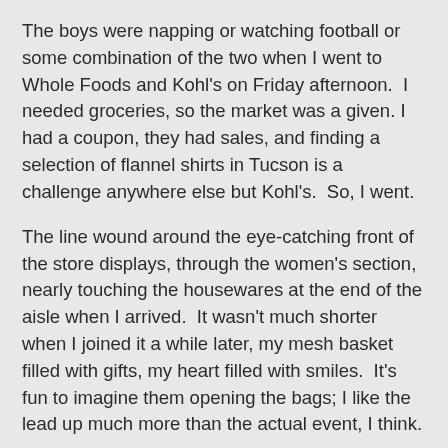The boys were napping or watching football or some combination of the two when I went to Whole Foods and Kohl's on Friday afternoon.  I needed groceries, so the market was a given. I had a coupon, they had sales, and finding a selection of flannel shirts in Tucson is a challenge anywhere else but Kohl's.  So, I went.
The line wound around the eye-catching front of the store displays, through the women's section, nearly touching the housewares at the end of the aisle when I arrived.  It wasn't much shorter when I joined it a while later, my mesh basket filled with gifts, my heart filled with smiles.  It's fun to imagine them opening the bags; I like the lead up much more than the actual event, I think.
Behind me was the world's most well behaved two year old. Not once did she whine or whimper or demand attention. She hid behind the long pants and matching jackets for a rousing game of She's Gone Missing...OH, there she is with the grownups on either side of her mother.  She felt every item in her mother's stash.  There were no carts available